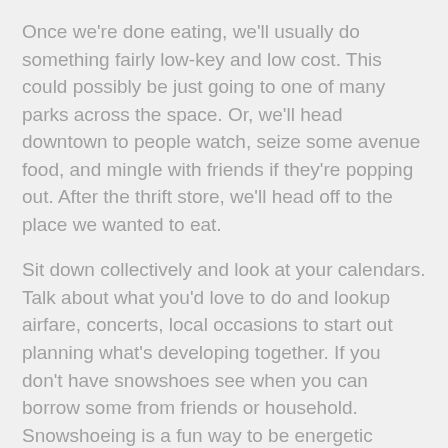Once we're done eating, we'll usually do something fairly low-key and low cost. This could possibly be just going to one of many parks across the space. Or, we'll head downtown to people watch, seize some avenue food, and mingle with friends if they're popping out. After the thrift store, we'll head off to the place we wanted to eat.
Sit down collectively and look at your calendars. Talk about what you'd love to do and lookup airfare, concerts, local occasions to start out planning what's developing together. If you don't have snowshoes see when you can borrow some from friends or household. Snowshoeing is a fun way to be energetic within the winter and nonetheless get outdoors. Look through old yearbooks or photo albums. You know what's funnier than looking your associate's high school yearbook and child footage?